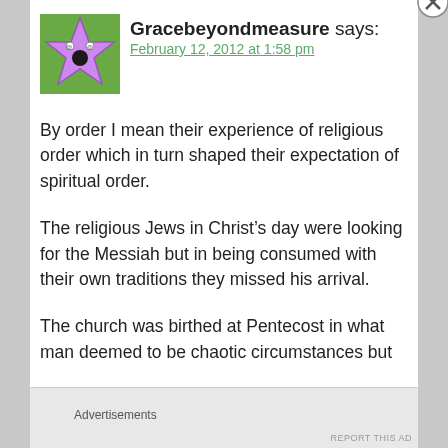[Figure (illustration): Purple star avatar icon with small face details on green background]
Gracebeyondmeasure says:
February 12, 2012 at 1:58 pm
By order I mean their experience of religious order which in turn shaped their expectation of spiritual order.
The religious Jews in Christ's day were looking for the Messiah but in being consumed with their own traditions they missed his arrival.
The church was birthed at Pentecost in what man deemed to be chaotic circumstances but
Advertisements